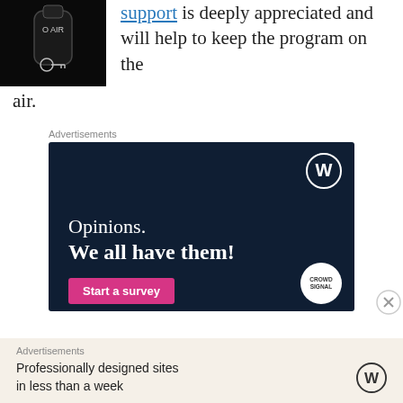[Figure (photo): Dark bottle or jar on black background]
support is deeply appreciated and will help to keep the program on the air.
Advertisements
[Figure (illustration): WordPress advertisement banner with dark navy background. Shows WordPress logo (W in circle) top right. Text reads: Opinions. We all have them! Pink button at bottom left says Start a survey. CrowdSignal logo circle bottom right.]
Advertisements
Professionally designed sites in less than a week